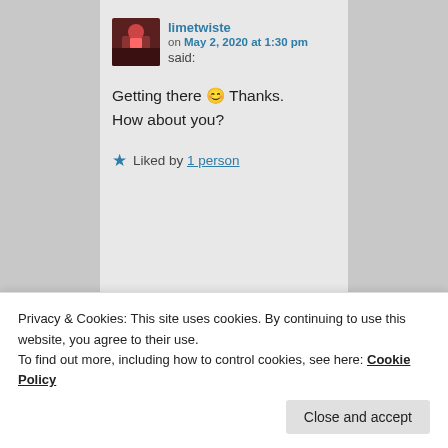limetwiste on May 2, 2020 at 1:30 pm said:
Getting there 😊 Thanks.
How about you?
★ Liked by 1 person
clairei47 on May 2, 2020 at 8:50 pm
Privacy & Cookies: This site uses cookies. By continuing to use this website, you agree to their use.
To find out more, including how to control cookies, see here: Cookie Policy
Close and accept